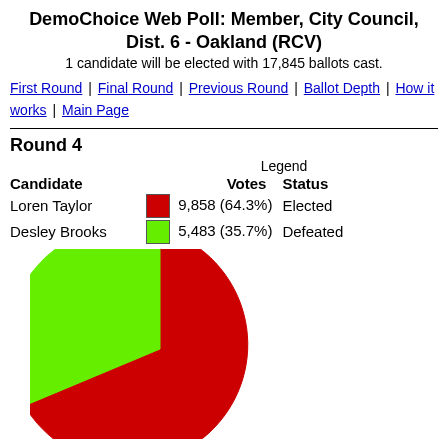DemoChoice Web Poll: Member, City Council, Dist. 6 - Oakland (RCV)
1 candidate will be elected with 17,845 ballots cast.
First Round | Final Round | Previous Round | Ballot Depth | How it works | Main Page
Round 4
[Figure (pie-chart): Round 4]